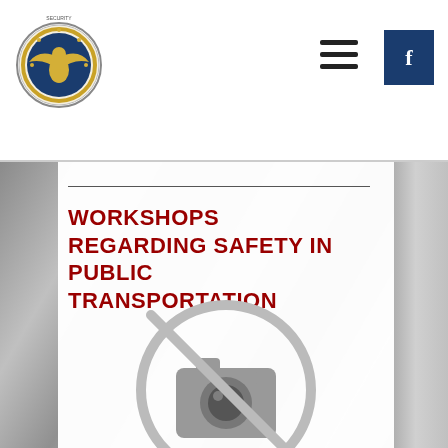[Figure (logo): Government/security agency eagle emblem logo with circular border, blue and gold colors]
[Figure (other): Hamburger menu icon (three horizontal lines)]
[Figure (other): Facebook button - dark blue square with letter f]
WORKSHOPS REGARDING SAFETY IN PUBLIC TRANSPORTATION
[Figure (photo): No-image placeholder icon (camera with prohibition circle) over a blurred metallic background photo]